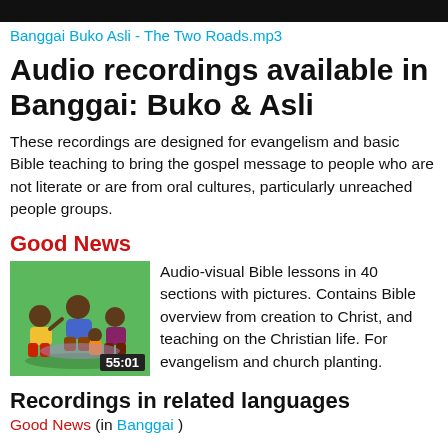Banggai Buko Asli - The Two Roads.mp3
Audio recordings available in Banggai: Buko & Asli
These recordings are designed for evangelism and basic Bible teaching to bring the gospel message to people who are not literate or are from oral cultures, particularly unreached people groups.
Good News
[Figure (illustration): Thumbnail image showing people sitting together on a green background, with a duration timer showing 55:01]
Audio-visual Bible lessons in 40 sections with pictures. Contains Bible overview from creation to Christ, and teaching on the Christian life. For evangelism and church planting.
Recordings in related languages
Good News (in Banggai)